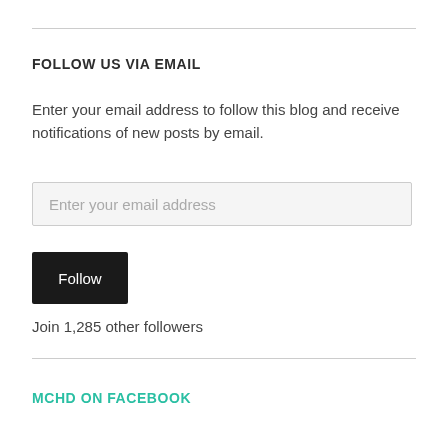FOLLOW US VIA EMAIL
Enter your email address to follow this blog and receive notifications of new posts by email.
Enter your email address
Follow
Join 1,285 other followers
MCHD ON FACEBOOK